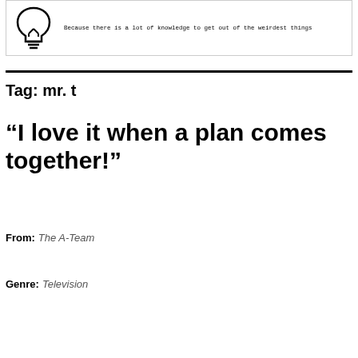[Figure (logo): Lightbulb icon with tagline text: Because there is a lot of knowledge to get out of the weirdest things]
Tag: mr. t
“I love it when a plan comes together!”
From: The A-Team
Genre: Television